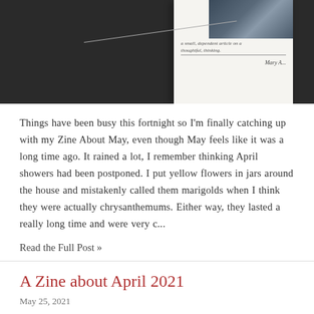[Figure (photo): Dark background photograph showing a white book/zine with a small photo on its cover and handwritten text, with a thin thread or wire crossing the image]
Things have been busy this fortnight so I'm finally catching up with my Zine About May, even though May feels like it was a long time ago. It rained a lot, I remember thinking April showers had been postponed. I put yellow flowers in jars around the house and mistakenly called them marigolds when I think they were actually chrysanthemums. Either way, they lasted a really long time and were very c...
Read the Full Post »
A Zine about April 2021
May 25, 2021